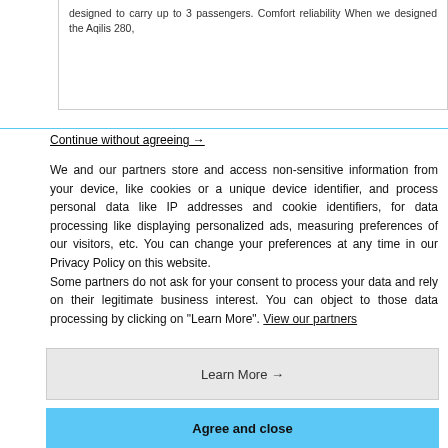designed to carry up to 3 passengers. Comfort reliability When we designed the Aqilis 280,
Continue without agreeing →
We and our partners store and access non-sensitive information from your device, like cookies or a unique device identifier, and process personal data like IP addresses and cookie identifiers, for data processing like displaying personalized ads, measuring preferences of our visitors, etc. You can change your preferences at any time in our Privacy Policy on this website.
Some partners do not ask for your consent to process your data and rely on their legitimate business interest. You can object to those data processing by clicking on "Learn More". View our partners
Learn More →
Agree and close